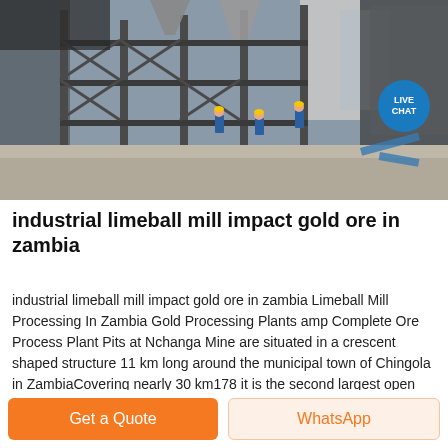[Figure (photo): Industrial mining facility with large metal scaffolding structures, silos, and workers in blue uniforms standing on a concrete yard. A 'LIVE CHAT' badge appears in the upper right corner of the image.]
industrial limeball mill impact gold ore in zambia
industrial limeball mill impact gold ore in zambia Limeball Mill Processing In Zambia Gold Processing Plants amp Complete Ore Process Plant Pits at Nchanga Mine are situated in a crescent shaped structure 11 km long around the municipal town of Chingola in ZambiaCovering nearly 30 km178 it is the second largest open cast mine in the world limeball mill
Get a Quote
WhatsApp